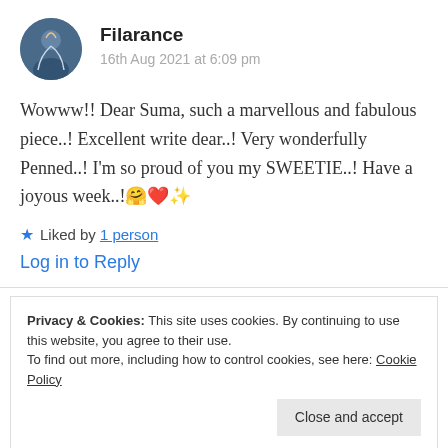[Figure (photo): Circular avatar of user Filarance, showing a silhouette of a person with a blue/dark background]
Filarance
16th Aug 2021 at 6:09 pm
Wowww!! Dear Suma, such a marvellous and fabulous piece..! Excellent write dear..! Very wonderfully Penned..! I'm so proud of you my SWEETIE..! Have a joyous week..! 🤗❤✨
★ Liked by 1 person
Log in to Reply
Privacy & Cookies: This site uses cookies. By continuing to use this website, you agree to their use.
To find out more, including how to control cookies, see here: Cookie Policy